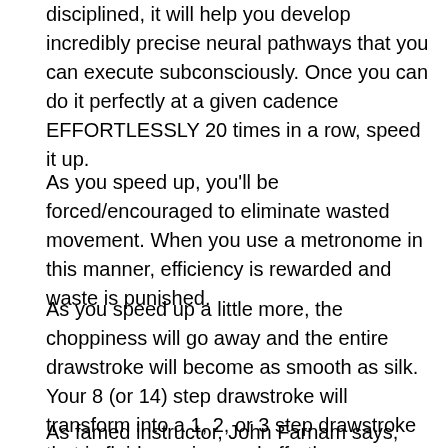disciplined, it will help you develop incredibly precise neural pathways that you can execute subconsciously. Once you can do it perfectly at a given cadence EFFORTLESSLY 20 times in a row, speed it up.
As you speed up, you'll be forced/encouraged to eliminate wasted movement. When you use a metronome in this manner, efficiency is rewarded and waste is punished.
As you speed up a little more, the choppiness will go away and the entire drawstroke will become as smooth as silk.  Your 8 (or 14) step drawstroke will transform into a 1, 2, or 3 step drawstroke that is fluid, precise, and effortless.
As famed instructor, John Farnam says, “Round off